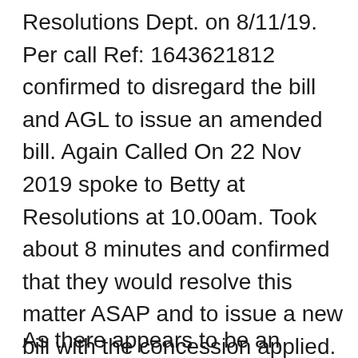Resolutions Dept. on 8/11/19. Per call Ref: 1643621812 confirmed to disregard the bill and AGL to issue an amended bill. Again Called On 22 Nov 2019 spoke to Betty at Resolutions at 10.00am. Took about 8 minutes and confirmed that they would resolve this matter ASAP and to issue a new bill with the concession applied. Call Ref: 1649663827. Received a duplicate bill for $236.09 on 27 Nov 2019. Spoke to a Tai @ Resolutions Dept. on 27 Nov. She apologised for this glitch and confirmed that the system has recognised the concession and would issue a fresh bill for this period in due course. Call Ref: 164904715
As there appears to be an undue delay, called